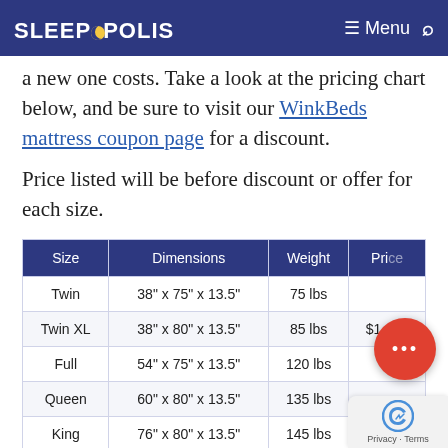SLEEPOPOLIS   Menu  Search
a new one costs. Take a look at the pricing chart below, and be sure to visit our WinkBeds mattress coupon page for a discount.
Price listed will be before discount or offer for each size.
| Size | Dimensions | Weight | Pri... |
| --- | --- | --- | --- |
| Twin | 38" x 75" x 13.5" | 75 lbs |  |
| Twin XL | 38" x 80" x 13.5" | 85 lbs | $1,449 |
| Full | 54" x 75" x 13.5" | 120 lbs |  |
| Queen | 60" x 80" x 13.5" | 135 lbs |  |
| King | 76" x 80" x 13.5" | 145 lbs |  |